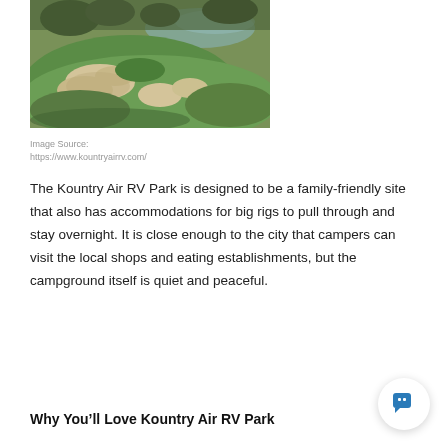[Figure (photo): Aerial view of a golf course with sand bunkers, green fairways, and a water feature in the background, taken at dusk or dawn with warm lighting.]
Image Source:
https://www.kountryairrv.com/
The Kountry Air RV Park is designed to be a family-friendly site that also has accommodations for big rigs to pull through and stay overnight. It is close enough to the city that campers can visit the local shops and eating establishments, but the campground itself is quiet and peaceful.
Why You’ll Love Kountry Air RV Park